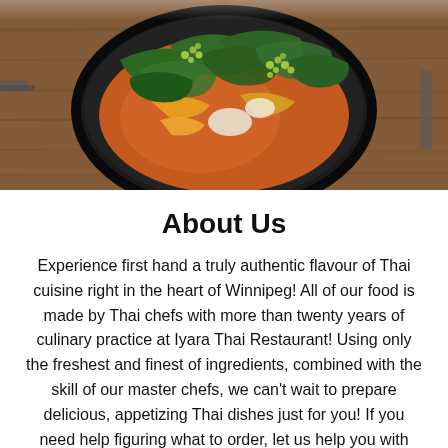[Figure (photo): Overhead photo of a Thai dish in a dark bowl — colorful stir-fry with leafy green herbs, yellow and red vegetables, green peppercorn clusters, placed on a wooden cutting board with utensils at the sides.]
About Us
Experience first hand a truly authentic flavour of Thai cuisine right in the heart of Winnipeg! All of our food is made by Thai chefs with more than twenty years of culinary practice at Iyara Thai Restaurant! Using only the freshest and finest of ingredients, combined with the skill of our master chefs, we can't wait to prepare delicious, appetizing Thai dishes just for you! If you need help figuring what to order, let us help you with suggestions! Why not try the Thai Stuffed Chicken Wings? Boneless chicken wing stuffed with noodle, Thai ingredients, ground chicken, and served with